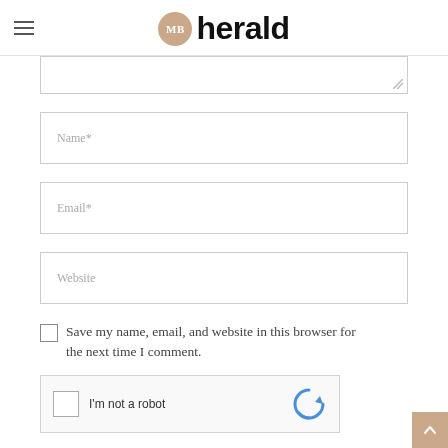MB herald
[Figure (screenshot): Comment form fields: textarea (partially visible), Name*, Email*, Website input fields, a save checkbox, and a reCAPTCHA widget]
Name*
Email*
Website
Save my name, email, and website in this browser for the next time I comment.
I'm not a robot